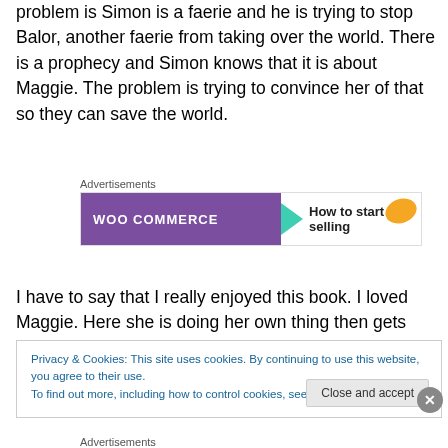problem is Simon is a faerie and he is trying to stop Balor, another faerie from taking over the world. There is a prophecy and Simon knows that it is about Maggie. The problem is trying to convince her of that so they can save the world.
[Figure (infographic): WooCommerce advertisement banner with purple background, teal arrow, and orange shape. Text reads 'WOOCOMMERCE' and 'How to start selling'. Labeled 'Advertisements' above.]
I have to say that I really enjoyed this book. I loved Maggie. Here she is doing her own thing then gets thrust
Privacy & Cookies: This site uses cookies. By continuing to use this website, you agree to their use.
To find out more, including how to control cookies, see here: Cookie Policy
Close and accept
Advertisements